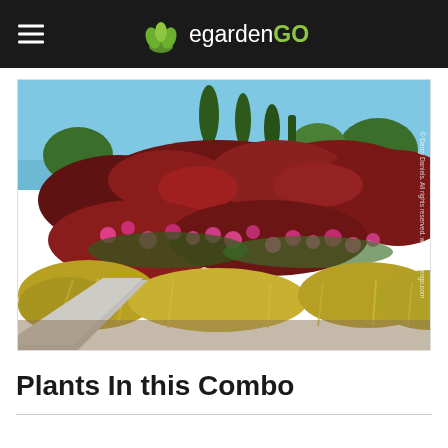egardenGO
[Figure (photo): Garden scene with red barberry shrubs, pink roses, golden grass in foreground, tall cypress trees in background, iron fence visible, blue sky. Watermark: © Darcy Daniels. All rights reserved. www.egardengo.com]
Plants In this Combo